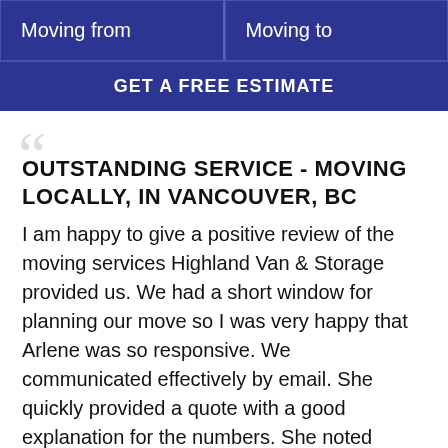| Moving from | Moving to |
| --- | --- |
GET A FREE ESTIMATE
OUTSTANDING SERVICE - MOVING LOCALLY, IN VANCOUVER, BC
I am happy to give a positive review of the moving services Highland Van & Storage provided us. We had a short window for planning our move so I was very happy that Arlene was so responsive. We communicated effectively by email. She quickly provided a quote with a good explanation for the numbers. She noted some particulars of what would happen during the move and also passed on the information and requests that I had provided for moving team. The team arrived on time and were